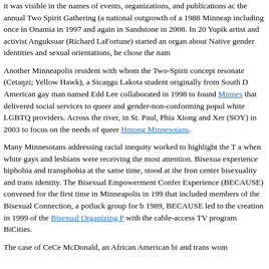it was visible in the names of events, organizations, and publications ac the annual Two Spirit Gathering (a national outgrowth of a 1988 Minneap including once in Onamia in 1997 and again in Sandstone in 2008. In 20 Yupik artist and activist Anguksuar (Richard LaFortune) started an organ about Native gender identities and sexual orientations, he chose the nam
Another Minneapolis resident with whom the Two-Spirit concept resonate (Cetanzi; Yellow Hawk), a Sicangu Lakota student originally from South D American gay man named Edd Lee collaborated in 1998 to found Minnes that delivered social services to queer and gender-non-conforming popul white LGBTQ providers. Across the river, in St. Paul, Phia Xiong and Xer (SOY) in 2003 to focus on the needs of queer Hmong Minnesotans.
Many Minnesotans addressing racial inequity worked to highlight the T a when white gays and lesbians were receiving the most attention. Bisexua experience biphobia and transphobia at the same time, stood at the fron center bisexuality and trans identity. The Bisexual Empowerment Confer Experience (BECAUSE) convened for the first time in Minneapolis in 199 that included members of the Bisexual Connection, a potluck group for b 1989, BECAUSE led to the creation in 1999 of the Bisexual Organizing P with the cable-access TV program BiCities.
The case of CeCe McDonald, an African American bi and trans wom